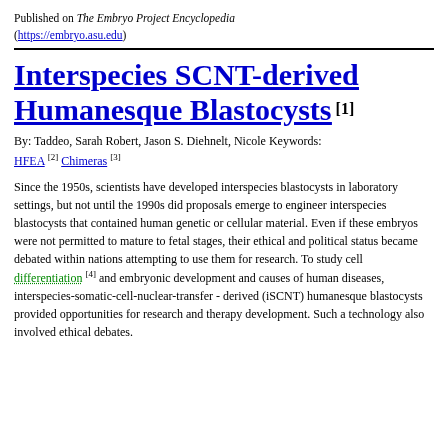Published on The Embryo Project Encyclopedia (https://embryo.asu.edu)
Interspecies SCNT-derived Humanesque Blastocysts [1]
By: Taddeo, Sarah Robert, Jason S. Diehnelt, Nicole Keywords: HFEA [2] Chimeras [3]
Since the 1950s, scientists have developed interspecies blastocysts in laboratory settings, but not until the 1990s did proposals emerge to engineer interspecies blastocysts that contained human genetic or cellular material. Even if these embryos were not permitted to mature to fetal stages, their ethical and political status became debated within nations attempting to use them for research. To study cell differentiation [4] and embryonic development and causes of human diseases, interspecies-somatic-cell-nuclear-transfer-derived (iSCNT) humanesque blastocysts provided opportunities for research and therapy development. Such a technology also involved ethical debates.